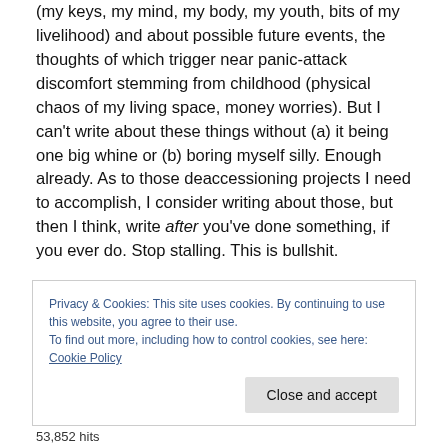(my keys, my mind, my body, my youth, bits of my livelihood) and about possible future events, the thoughts of which trigger near panic-attack discomfort stemming from childhood (physical chaos of my living space, money worries). But I can't write about these things without (a) it being one big whine or (b) boring myself silly. Enough already. As to those deaccessioning projects I need to accomplish, I consider writing about those, but then I think, write after you've done something, if you ever do. Stop stalling. This is bullshit.
Privacy & Cookies: This site uses cookies. By continuing to use this website, you agree to their use. To find out more, including how to control cookies, see here: Cookie Policy
53,852 hits